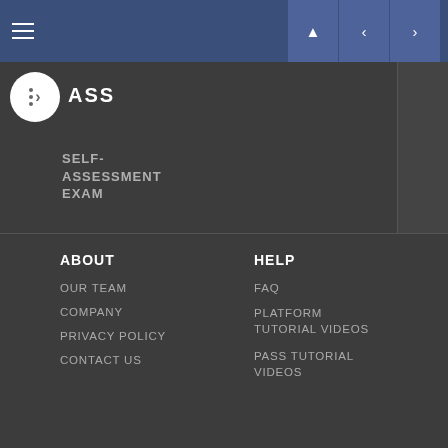Navigation header with hamburger menu and navigation arrows
PASS
SELF-ASSESSMENT EXAM
POCL FREE CME
TESTIMONIALS
Feedback
ABOUT
OUR TEAM
COMPANY
PRIVACY POLICY
CONTACT US
HELP
FAQ
PLATFORM TUTORIAL VIDEOS
PASS TUTORIAL VIDEOS